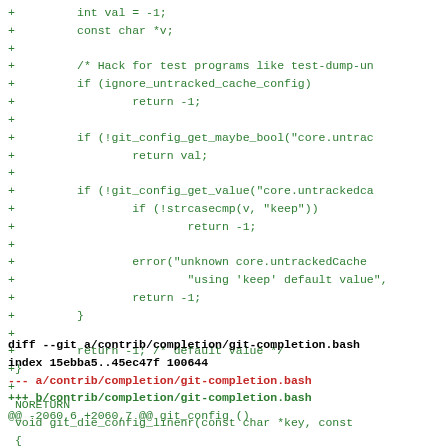+         int val = -1;
+         const char *v;
+
+         /* Hack for test programs like test-dump-un
+         if (ignore_untracked_cache_config)
+                 return -1;
+
+         if (!git_config_get_maybe_bool("core.untrac
+                 return val;
+
+         if (!git_config_get_value("core.untrackedca
+                 if (!strcasecmp(v, "keep"))
+                         return -1;
+
+                 error("unknown core.untrackedCache
+                         "using 'keep' default value",
+                 return -1;
+         }
+
+         return -1; /* default value */
+}
+
 NORETURN
 void git_die_config_linenr(const char *key, const
 {
diff --git a/contrib/completion/git-completion.bash
index 15ebba5..45ec47f 100644
--- a/contrib/completion/git-completion.bash
+++ b/contrib/completion/git-completion.bash
@@ -2060,6 +2060,7 @@ git_config ()